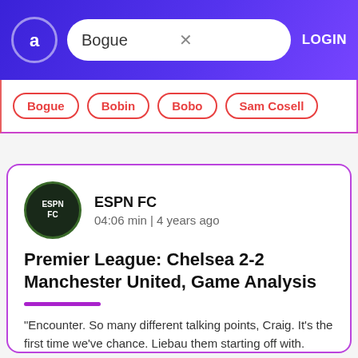Bogue  LOGIN
Bogue
Bobin
Bobo
Sam Cosell
ESPN FC
04:06 min | 4 years ago
Premier League: Chelsea 2-2 Manchester United, Game Analysis
"Encounter. So many different talking points, Craig. It's the first time we've chance. Liebau them starting off with. What would you say to Mockus along so of this game considerin...
Chelsea Khan
Murata Giroux
Engineer